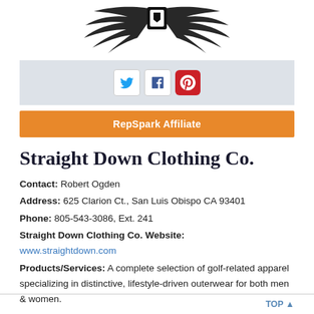[Figure (logo): Straight Down Clothing Co. logo with wings and shield emblem in black]
[Figure (infographic): Social media icons for Twitter, Facebook, and Pinterest in a light grey bar]
RepSpark Affiliate
Straight Down Clothing Co.
Contact: Robert Ogden
Address: 625 Clarion Ct., San Luis Obispo CA 93401
Phone: 805-543-3086, Ext. 241
Straight Down Clothing Co. Website:
www.straightdown.com
Products/Services: A complete selection of golf-related apparel specializing in distinctive, lifestyle-driven outerwear for both men & women.
TOP